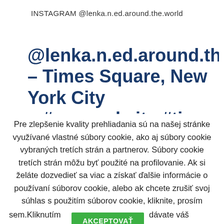INSTAGRAM @lenka.n.ed.around.the.world
@lenka.n.ed.around.the.world – Times Square, New York City – #newyorkcity #timessquare
Pre zlepšenie kvality prehliadania sú na našej stránke využívané vlastné súbory cookie, ako aj súbory cookie vybraných tretích strán a partnerov. Súbory cookie tretích strán môžu byť použité na profilovanie. Ak si želáte dozvedieť sa viac a získať ďalšie informácie o používaní súborov cookie, alebo ak chcete zrušiť svoj súhlas s použitím súborov cookie, kliknite, prosím sem.Kliknutím na AKCEPTOVAŤ dávate váš súhlas s použitím súborov cookie na naších stránkach.